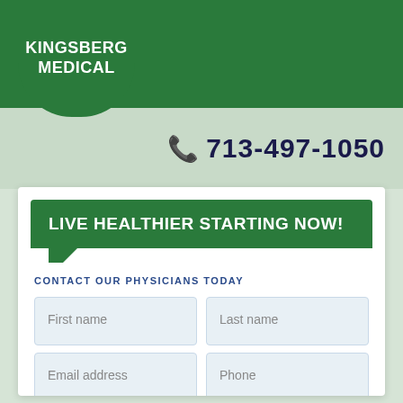KINGSBERG MEDICAL
Menu
📞 713-497-1050
LIVE HEALTHIER STARTING NOW!
CONTACT OUR PHYSICIANS TODAY
First name
Last name
Email address
Phone
Message